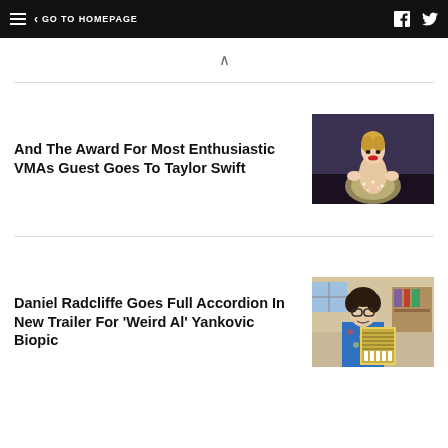GO TO HOMEPAGE
And The Award For Most Enthusiastic VMAs Guest Goes To Taylor Swift
[Figure (photo): Taylor Swift in a sparkly dress clapping and smiling at an awards show]
Daniel Radcliffe Goes Full Accordion In New Trailer For 'Weird Al' Yankovic Biopic
[Figure (photo): Daniel Radcliffe as Weird Al Yankovic holding an accordion, wearing glasses and a Hawaiian shirt]